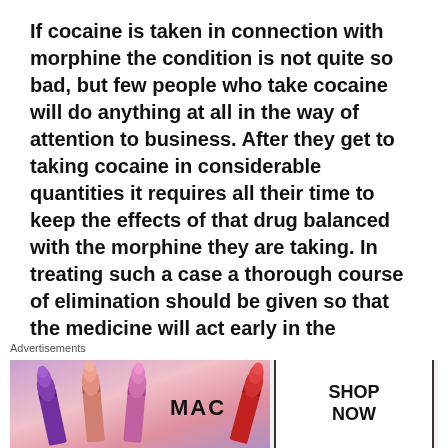If cocaine is taken in connection with morphine the condition is not quite so bad, but few people who take cocaine will do anything at all in the way of attention to business. After they get to taking cocaine in considerable quantities it requires all their time to keep the effects of that drug balanced with the morphine they are taking. In treating such a case a thorough course of elimination should be given so that the medicine will act early in the morning. Their cocaine should be given to them up to lO or 12 o'clock at night and then taken away.
Within two or three hours after the last dose
[Figure (photo): MAC cosmetics advertisement showing lipsticks in purple, pink, and red shades with MAC logo and SHOP NOW button]